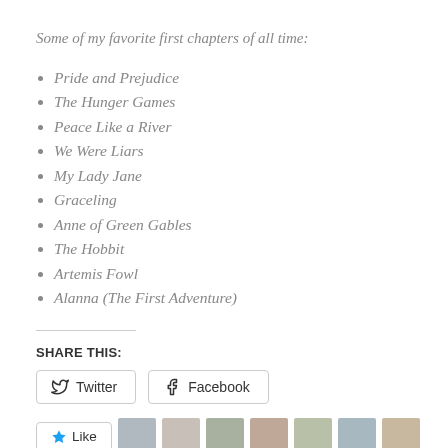Some of my favorite first chapters of all time:
Pride and Prejudice
The Hunger Games
Peace Like a River
We Were Liars
My Lady Jane
Graceling
Anne of Green Gables
The Hobbit
Artemis Fowl
Alanna (The First Adventure)
SHARE THIS:
Twitter  Facebook
Like [avatars]